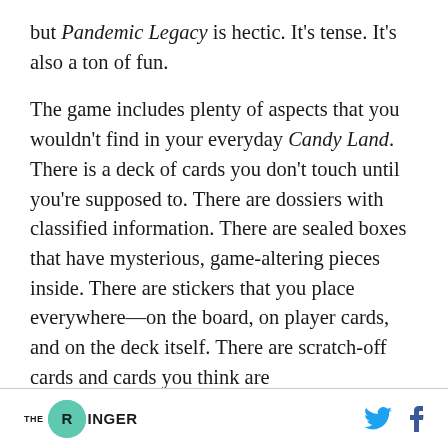but Pandemic Legacy is hectic. It's tense. It's also a ton of fun.
The game includes plenty of aspects that you wouldn't find in your everyday Candy Land. There is a deck of cards you don't touch until you're supposed to. There are dossiers with classified information. There are sealed boxes that have mysterious, game-altering pieces inside. There are stickers that you place everywhere—on the board, on player cards, and on the deck itself. There are scratch-off cards and cards you think are
THE RINGER